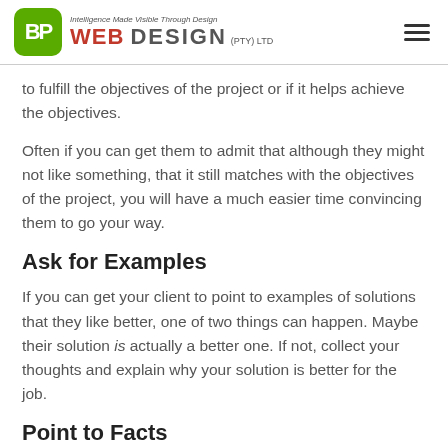BP Web Design (PTY) LTD – Intelligence Made Visible Through Design
to fulfill the objectives of the project or if it helps achieve the objectives.
Often if you can get them to admit that although they might not like something, that it still matches with the objectives of the project, you will have a much easier time convincing them to go your way.
Ask for Examples
If you can get your client to point to examples of solutions that they like better, one of two things can happen. Maybe their solution is actually a better one. If not, collect your thoughts and explain why your solution is better for the job.
Point to Facts
If your client is adamant about adding an audio…